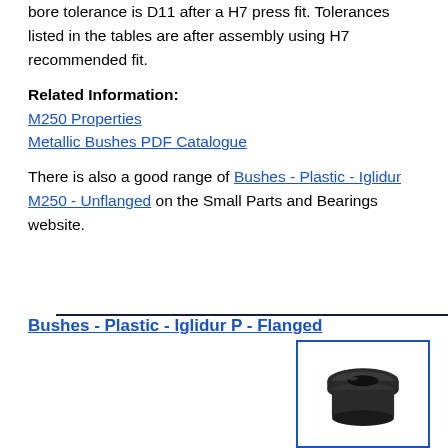bore tolerance is D11 after a H7 press fit. Tolerances listed in the tables are after assembly using H7 recommended fit.
Related Information:
M250 Properties
Metallic Bushes PDF Catalogue
There is also a good range of Bushes - Plastic - Iglidur M250 - Unflanged on the Small Parts and Bearings website.
Bushes - Plastic - Iglidur P - Flanged
[Figure (photo): Photo of a flanged plastic bushing (iglidur P), dark grey/black, showing the flange and cylindrical bore, displayed within a blue-bordered box.]